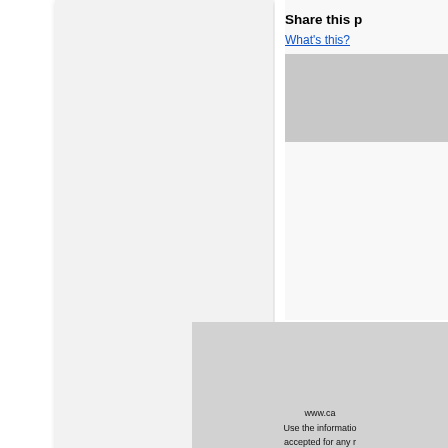Share this p
What's this?
[Figure (screenshot): Gray placeholder box in upper right area]
www.ca
Use the informatio
accepted for any r
Click here to see the disclair
[Figure (illustration): infolinks logo bar - dark blue with white italic text]
[Figure (screenshot): Seamless food delivery advertisement banner with pizza image, red seamless logo button, and ORDER NOW box with close X button]